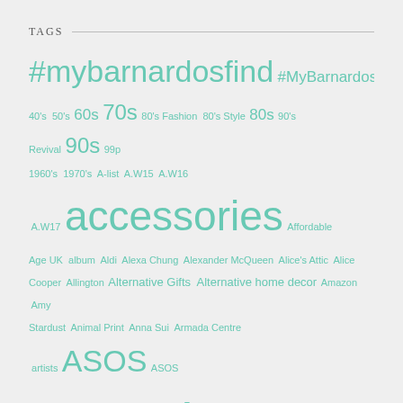TAGS
#mybarnardosfind #MyBarnardosStyle 40's 50's 60s 70s 80's Fashion 80's Style 80s 90's Revival 90s 99p 1960's 1970's A-list A.W15 A.W16 A.W17 accessories Affordable Age UK album Aldi Alexa Chung Alexander McQueen Alice's Attic Alice Cooper Allington Alternative Gifts Alternative home decor Amazon Amy Stardust Animal Print Anna Sui Armada Centre artists ASOS ASOS Marketplace August Autograph Autumn Autumn Fashion Autumn Winter 2017 Aviators Awards Back To School badges Bafta Bags Balby Balmain Banana Republic Band Tees bardot New Look Zara bargain Bargain hunter Bargains Barnardo's Barnardo's Outfit Challenge Barnardo's retail Barnardo's vintage Barnardos